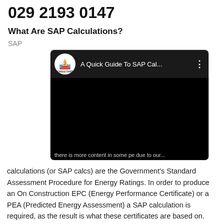029 2193 0147
What Are SAP Calculations?
SAP
[Figure (screenshot): Embedded YouTube video thumbnail showing 'A Quick Guide To SAP Cal...' with E2 Consultants logo on dark background]
calculations (or SAP calcs) are the Government's Standard Assessment Procedure for Energy Ratings. In order to produce an On Construction EPC (Energy Performance Certificate) or a PEA (Predicted Energy Assessment) a SAP calculation is required, as the result is what these certificates are based on. SAP ratings are a useful way of comparing the energy performance from home to home.
The resulting rating from your SAP calculation represents the cost of